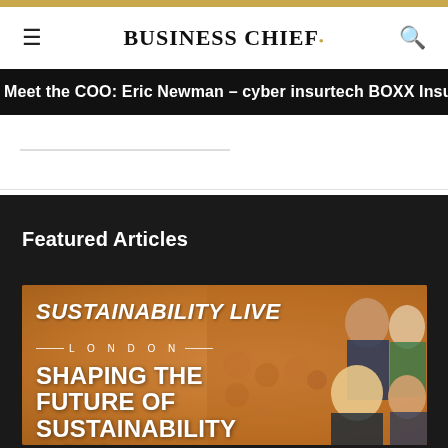BUSINESS CHIEF.
Meet the COO: Eric Newman – cyber insurtech BOXX Insura
Featured Articles
[Figure (illustration): Sustainability Live London promotional banner: orange background with people in crowd, text reads SUSTAINABILITY LIVE LONDON, SHAPING THE FUTURE OF SUSTAINABILITY & ESG]